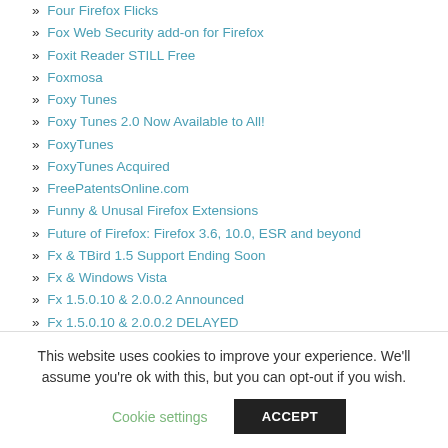» Four Firefox Flicks
» Fox Web Security add-on for Firefox
» Foxit Reader STILL Free
» Foxmosa
» Foxy Tunes
» Foxy Tunes 2.0 Now Available to All!
» FoxyTunes
» FoxyTunes Acquired
» FreePatentsOnline.com
» Funny & Unusal Firefox Extensions
» Future of Firefox: Firefox 3.6, 10.0, ESR and beyond
» Fx & TBird 1.5 Support Ending Soon
» Fx & Windows Vista
» Fx 1.5.0.10 & 2.0.0.2 Announced
» Fx 1.5.0.10 & 2.0.0.2 DELAYED
» Fx 1.5.0.10 & 2.0.0.2 Released
» Fx 1.5.0.10 & 2.0.0.2 Status
This website uses cookies to improve your experience. We'll assume you're ok with this, but you can opt-out if you wish.
Cookie settings | ACCEPT